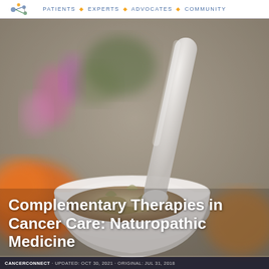Patients · Experts · Advocates · community
[Figure (photo): Close-up photo of a white mortar and pestle filled with dried herbs, with colorful wildflowers (orange, pink, purple) blurred in the background — representing naturopathic/herbal medicine.]
Complementary Therapies in Cancer Care: Naturopathic Medicine
CANCERCONNECT · UPDATED: OCT 30, 2021 · ORIGINAL: JUL 31, 2018